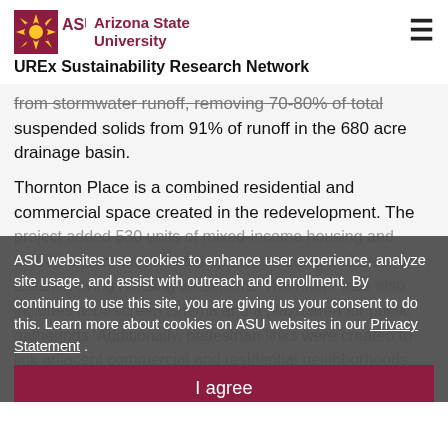Arizona State University — UREx Sustainability Research Network
from stormwater runoff, removing 70-80% of total suspended solids from 91% of runoff in the 680 acre drainage basin.
Thornton Place is a combined residential and commercial space created in the redevelopment. The project added 530 units of mixed-income housing and 50,000 square feet of retail space, including 143 units of assisted-living housing for seniors. Thornton Place also includes a 14-screen cinema and a plaza area for public gatherings. Additionally, pedestrian links were created to link adjacent commercial and residential neighborhoods, improving walkability. Transit access was also improve by the design, increasing mobility and diversity of transportation.
ASU websites use cookies to enhance user experience, analyze site usage, and assist with outreach and enrollment. By continuing to use this site, you are giving us your consent to do this. Learn more about cookies on ASU websites in our Privacy Statement .
I agree